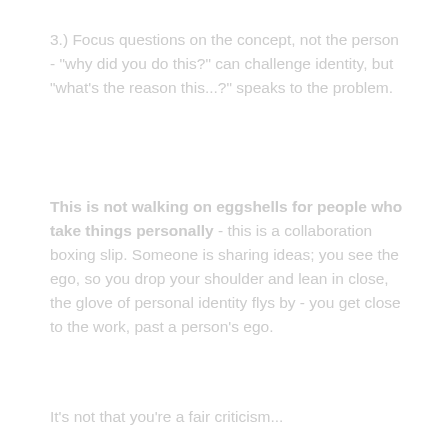3.) Focus questions on the concept, not the person - "why did you do this?" can challenge identity, but "what's the reason this...?" speaks to the problem.
This is not walking on eggshells for people who take things personally - this is a collaboration boxing slip. Someone is sharing ideas; you see the ego, so you drop your shoulder and lean in close, the glove of personal identity flys by - you get close to the work, past a person's ego.
It's not that you're a fair criticism...